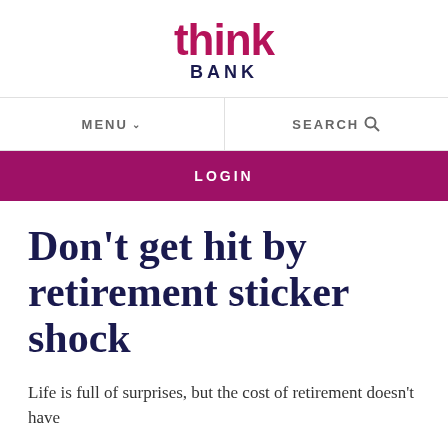[Figure (logo): Think Bank logo — 'think' in large magenta/pink bold lowercase letters, 'BANK' in dark navy bold uppercase spaced letters below]
MENU  SEARCH
LOGIN
Don't get hit by retirement sticker shock
Life is full of surprises, but the cost of retirement doesn't have